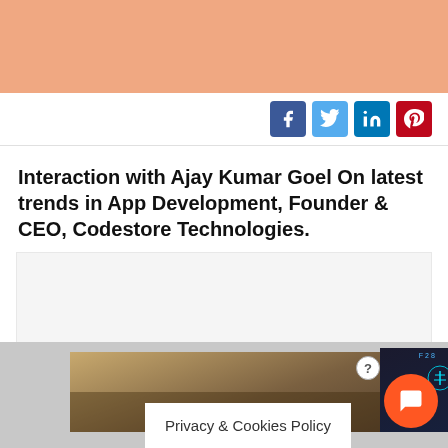[Figure (illustration): Salmon/peach colored banner placeholder image at top of page]
[Figure (infographic): Social sharing buttons row: Facebook (dark blue), Twitter (light blue), LinkedIn (teal blue), Pinterest (red)]
Interaction with Ajay Kumar Goel On latest trends in App Development, Founder & CEO, Codestore Technologies.
[Figure (photo): Light gray content placeholder area below the title]
[Figure (photo): Bottom advertisement banner showing outdoor/nature scene with a tech overlay display in center and trees on right]
Privacy & Cookies Policy